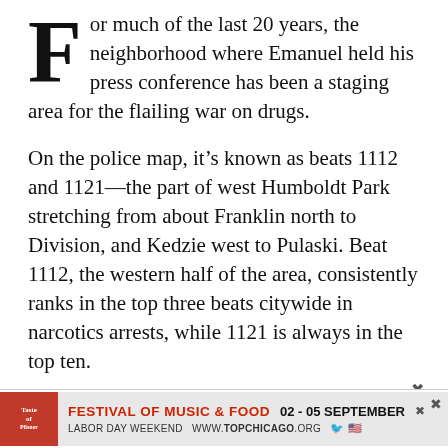For much of the last 20 years, the neighborhood where Emanuel held his press conference has been a staging area for the flailing war on drugs.
On the police map, it’s known as beats 1112 and 1121—the part of west Humboldt Park stretching from about Franklin north to Division, and Kedzie west to Pulaski. Beat 1112, the western half of the area, consistently ranks in the top three beats citywide in narcotics arrests, while 1121 is always in the top ten.
The volume of drug busts here is astounding: more than
FESTIVAL OF MUSIC & FOOD  02 - 05 SEPTEMBER  LABOR DAY WEEKEND  WWW.TOPCHICAGO.ORG